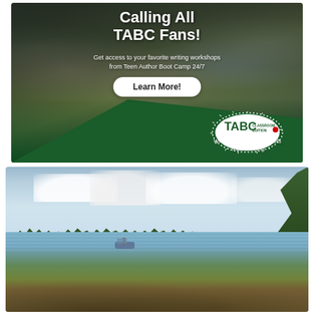[Figure (illustration): TABC (Teen Author Boot Camp) advertisement banner. Dark background showing students in a classroom/workshop setting. White bold text reads 'Calling All TABC Fans!' with subtitle 'Get access to your favorite writing workshops from Teen Author Boot Camp 24/7'. White oval button with 'Learn More!'. Bottom right has a dark green triangle with TABC Classroom Edition logo (white oval with burst rays and red dot) and tagline 'Where Best-selling Authors Teach Writing'.]
[Figure (photo): Outdoor lakeside photo showing a calm lake with a sandy/grassy shore in the foreground, a treeline across the water in the background, tall green trees on the right, and a partly cloudy sky. A small boat or structure is visible on the water in the middle distance.]